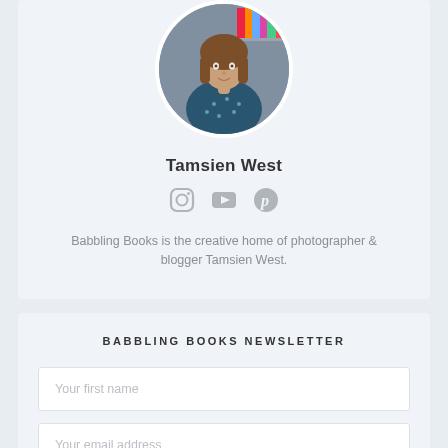[Figure (photo): Circular profile photo of Tamsien West, a woman with shoulder-length brown hair wearing a dark teal blouse with white polka dots, posed in front of a bookshelf]
Tamsien West
[Figure (infographic): Three social media icons: Instagram camera icon, YouTube play button icon, Pinterest P icon — all in grey]
Babbling Books is the creative home of photographer & blogger Tamsien West.
BABBLING BOOKS NEWSLETTER
Your first name
Your email address